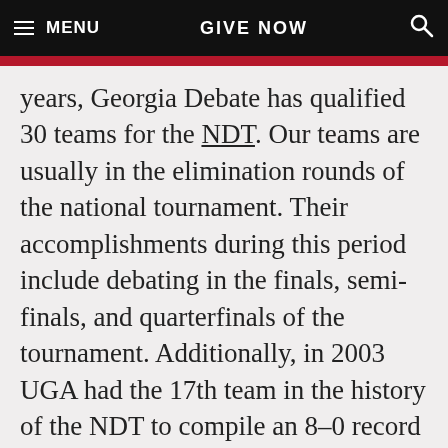MENU   GIVE NOW   🔍
years, Georgia Debate has qualified 30 teams for the NDT. Our teams are usually in the elimination rounds of the national tournament. Their accomplishments during this period include debating in the finals, semi-finals, and quarterfinals of the tournament. Additionally, in 2003 UGA had the 17th team in the history of the NDT to compile an 8–0 record in the preliminary debates. The 2003 team, Powers and Ramachandrappa, join the Martinsons (1971) as UGA teams